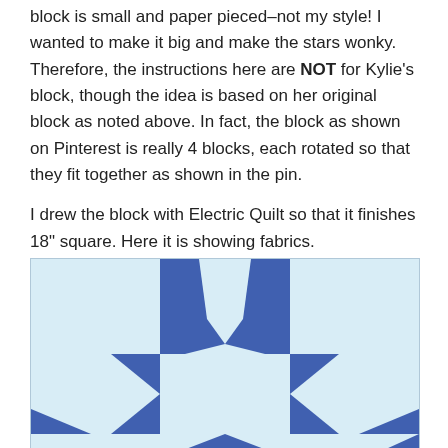block is small and paper pieced–not my style!  I wanted to make it big and make the stars wonky.  Therefore, the instructions here are NOT for Kylie's block, though the idea is based on her original block as noted above.  In fact, the block as shown on Pinterest is really 4 blocks, each rotated so that they fit together as shown in the pin.
I drew the block with Electric Quilt so that it finishes 18" square.  Here it is showing fabrics.
[Figure (illustration): A quilt block design showing a star pattern in blue and light blue/white fabric. The block is partially visible, showing the top two rows of a 3x3 grid arrangement. The upper center shows a dark blue star point pointing downward in a V shape against light blue. The middle row shows horizontal star points (arrow/chevron shapes) pointing left and right in dark blue against light blue background.]